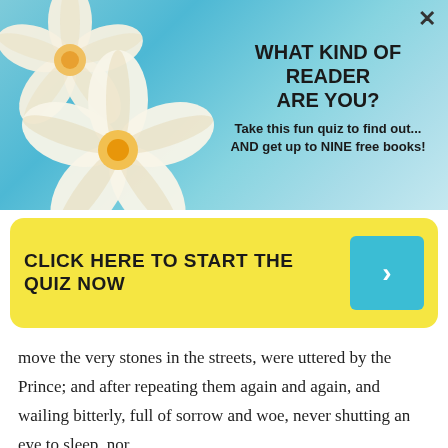[Figure (illustration): Advertisement banner with teal/turquoise water background and white/yellow plumeria flowers on the left side. A close (X) button is in the top right corner. Text overlay reads: WHAT KIND OF READER ARE YOU? Take this fun quiz to find out... AND get up to NINE free books!]
WHAT KIND OF READER ARE YOU? Take this fun quiz to find out... AND get up to NINE free books!
CLICK HERE TO START THE QUIZ NOW
move the very stones in the streets, were uttered by the Prince; and after repeating them again and again, and wailing bitterly, full of sorrow and woe, never shutting an eye to sleep, nor